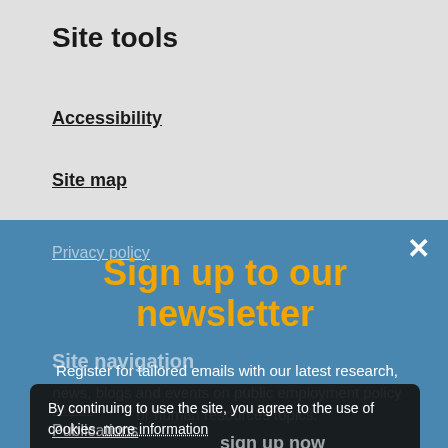Site tools
Accessibility
Site map
Privacy policy
Site navigation
Areas
Sign up to our newsletter
Register for tailored emails with our latest research, news, blogs and events on public employment policy or human resources topics.
By continuing to use the site, you agree to the use of cookies. more information
Accept
sign up now
Publications